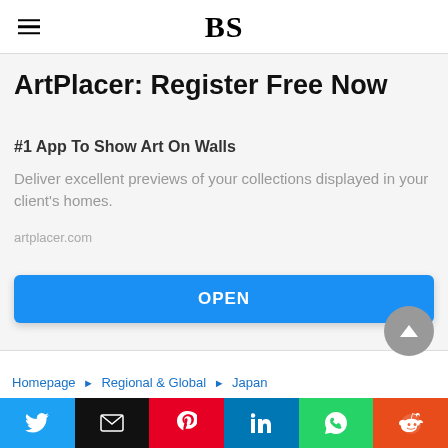BS
ArtPlacer: Register Free Now
#1 App To Show Art On Walls
Deliver excellent previews of your collections displayed in your client's homes.
artplacer.com
OPEN
Homepage ▶ Regional & Global ▶ Japan
Twitter | Email | Pinterest | LinkedIn | WhatsApp | Reddit